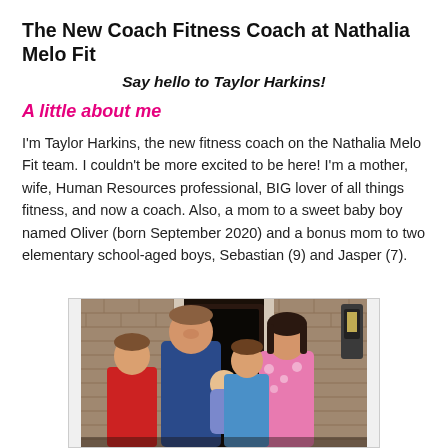The New Coach Fitness Coach at Nathalia Melo Fit
Say hello to Taylor Harkins!
A little about me
I'm Taylor Harkins, the new fitness coach on the Nathalia Melo Fit team. I couldn't be more excited to be here! I'm a mother, wife, Human Resources professional, BIG lover of all things fitness, and now a coach. Also, a mom to a sweet baby boy named Oliver (born September 2020) and a bonus mom to two elementary school-aged boys, Sebastian (9) and Jasper (7).
[Figure (photo): Family photo of Taylor Harkins with her husband and three boys standing in front of a brick home with a dark door]